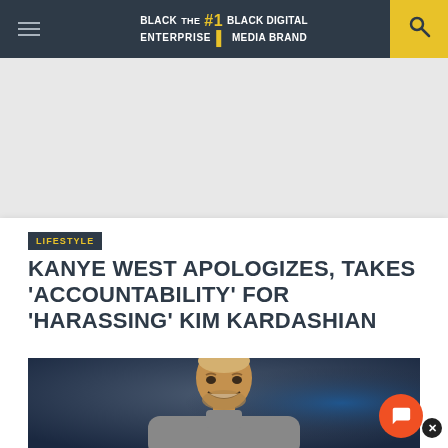BLACK ENTERPRISE THE #1 BLACK DIGITAL MEDIA BRAND
LIFESTYLE
KANYE WEST APOLOGIZES, TAKES 'ACCOUNTABILITY' FOR 'HARASSING' KIM KARDASHIAN
[Figure (photo): Photo of Kanye West smiling, wearing a grey turtleneck, with blue and dark stage lighting in the background]